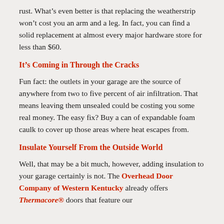rust. What's even better is that replacing the weatherstrip won't cost you an arm and a leg. In fact, you can find a solid replacement at almost every major hardware store for less than $60.
It's Coming in Through the Cracks
Fun fact: the outlets in your garage are the source of anywhere from two to five percent of air infiltration. That means leaving them unsealed could be costing you some real money. The easy fix? Buy a can of expandable foam caulk to cover up those areas where heat escapes from.
Insulate Yourself From the Outside World
Well, that may be a bit much, however, adding insulation to your garage certainly is not. The Overhead Door Company of Western Kentucky already offers Thermacore® doors that feature our